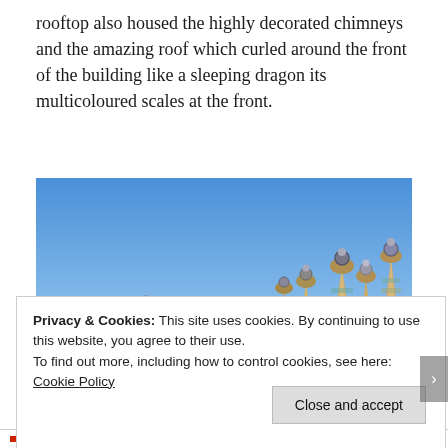rooftop also housed the highly decorated chimneys and the amazing roof which curled around the front of the building like a sleeping dragon its multicoloured scales at the front.
[Figure (photo): Photo of decorated chimneys on top of a building (Casa Batlló by Gaudí), showing ornate spires against a blue sky with light clouds.]
Privacy & Cookies: This site uses cookies. By continuing to use this website, you agree to their use.
To find out more, including how to control cookies, see here: Cookie Policy
Close and accept